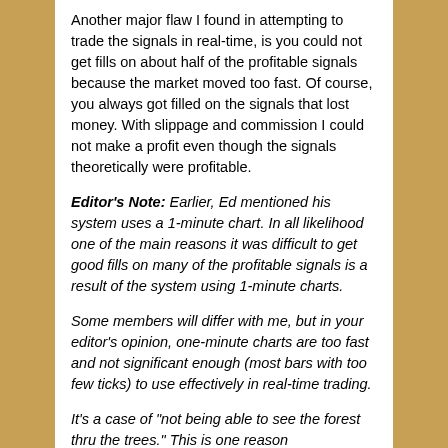Another major flaw I found in attempting to trade the signals in real-time, is you could not get fills on about half of the profitable signals because the market moved too fast. Of course, you always got filled on the signals that lost money. With slippage and commission I could not make a profit even though the signals theoretically were profitable.
Editor's Note: Earlier, Ed mentioned his system uses a 1-minute chart. In all likelihood one of the main reasons it was difficult to get good fills on many of the profitable signals is a result of the system using 1-minute charts.
Some members will differ with me, but in your editor's opinion, one-minute charts are too fast and not significant enough (most bars with too few ticks) to use effectively in real-time trading.
It's a case of "not being able to see the forest thru the trees." This is one reason OTS's Best Systems Methodology uses 5-